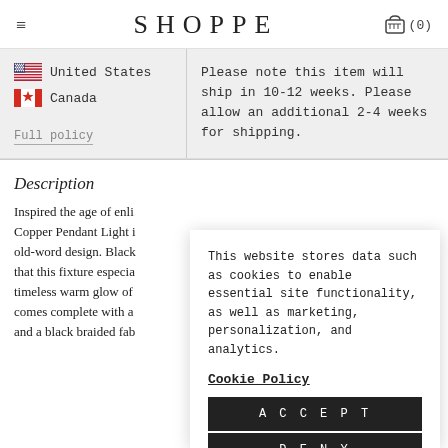≡  SHOPPE  🛒 (0)
United States
Canada
Please note this item will ship in 10-12 weeks. Please allow an additional 2-4 weeks for shipping.
Full policy
Description
Inspired the age of enli... Copper Pendant Light i... old-word design. Black ... that this fixture especia... timeless warm glow of ... comes complete with a ... and a black braided fab...
This website stores data such as cookies to enable essential site functionality, as well as marketing, personalization, and analytics.

Cookie Policy

ACCEPT

DENY